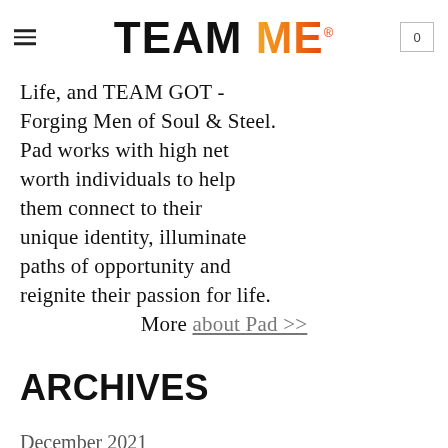TEAM ME (logo with hamburger menu and cart showing 0)
Life, and TEAM GOT - Forging Men of Soul & Steel. Pad works with high net worth individuals to help them connect to their unique identity, illuminate paths of opportunity and reignite their passion for life. More about Pad >>
ARCHIVES
December 2021
July 2020
April 2020 (partial)